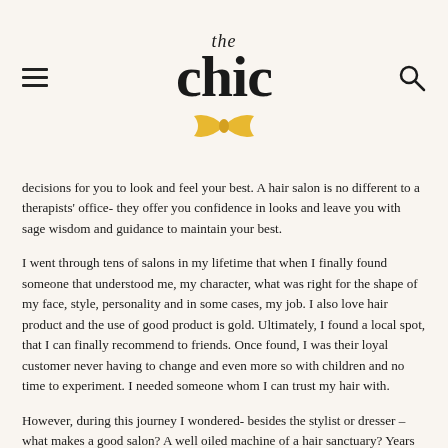the chic
decisions for you to look and feel your best. A hair salon is no different to a therapists' office- they offer you confidence in looks and leave you with sage wisdom and guidance to maintain your best.
I went through tens of salons in my lifetime that when I finally found someone that understood me, my character, what was right for the shape of my face, style, personality and in some cases, my job. I also love hair product and the use of good product is gold. Ultimately, I found a local spot, that I can finally recommend to friends. Once found, I was their loyal customer never having to change and even more so with children and no time to experiment. I needed someone whom I can trust my hair with.
However, during this journey I wondered- besides the stylist or dresser – what makes a good salon? A well oiled machine of a hair sanctuary? Years to perfect the service, values and of course, brand to earn credit. It is hard, especially in the ever changing hair and beauty industry. We came across Amanda Hair, CEO of Bob Steele Salons. Going by her